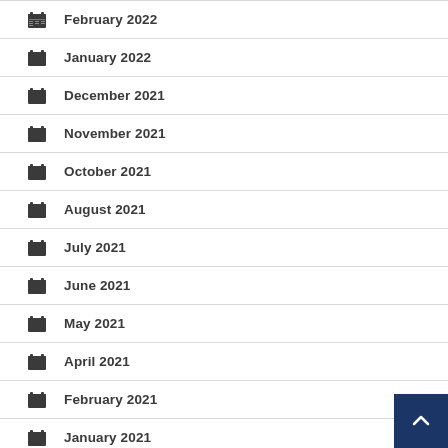February 2022
January 2022
December 2021
November 2021
October 2021
August 2021
July 2021
June 2021
May 2021
April 2021
February 2021
January 2021
December 2020